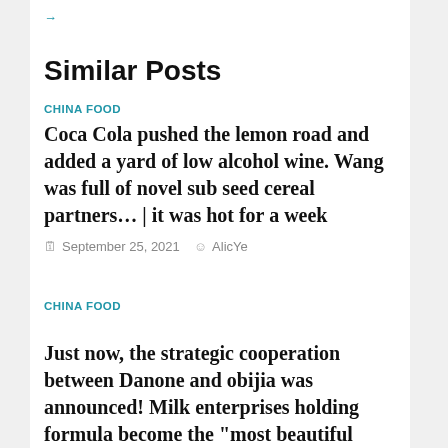→
Similar Posts
CHINA FOOD
Coca Cola pushed the lemon road and added a yard of low alcohol wine. Wang was full of novel sub seed cereal partners... | it was hot for a week
September 25, 2021   AlicYe
CHINA FOOD
Just now, the strategic cooperation between Danone and obijia was announced! Milk enterprises holding formula become the “most beautiful baby” to attract investment